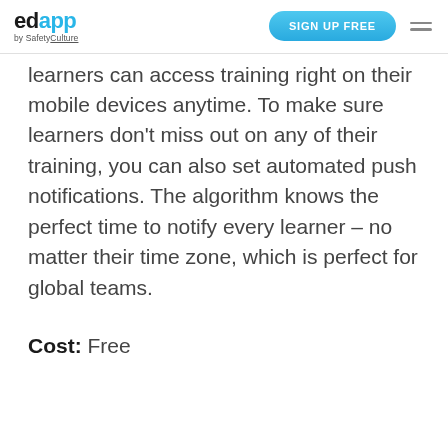edapp by SafetyCulture | SIGN UP FREE
learners can access training right on their mobile devices anytime. To make sure learners don't miss out on any of their training, you can also set automated push notifications. The algorithm knows the perfect time to notify every learner – no matter their time zone, which is perfect for global teams.
Cost: Free